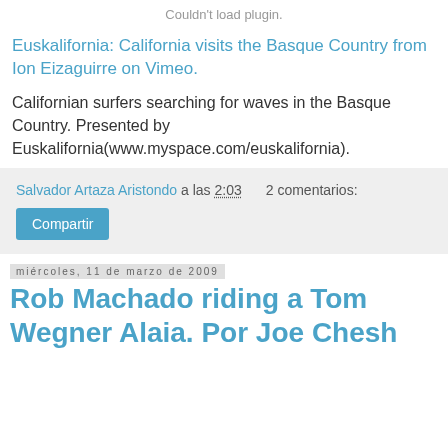[Figure (other): Couldn't load plugin. placeholder for embedded video]
Euskalifornia: California visits the Basque Country from Ion Eizaguirre on Vimeo.
Californian surfers searching for waves in the Basque Country. Presented by Euskalifornia(www.myspace.com/euskalifornia).
Salvador Artaza Aristondo a las 2:03    2 comentarios:
Compartir
miércoles, 11 de marzo de 2009
Rob Machado riding a Tom Wegner Alaia. Por Joe Chesh